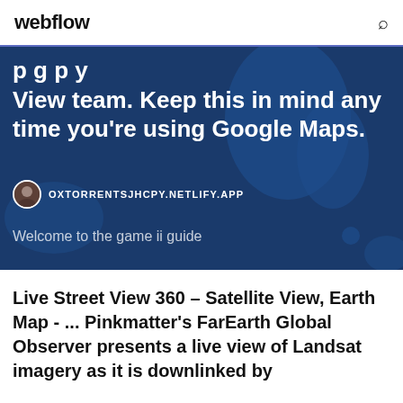webflow
p g p y View team. Keep this in mind any time you're using Google Maps.
OXTORRENTSJHCPY.NETLIFY.APP
Welcome to the game ii guide
Live Street View 360 – Satellite View, Earth Map - ... Pinkmatter's FarEarth Global Observer presents a live view of Landsat imagery as it is downlinked by